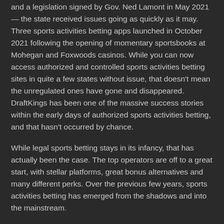and a legislation signed by Gov. Ned Lamont in May 2021 — the state received issues going as quickly as it may. Three sports activities betting apps launched in October 2021 following the opening of momentary sportsbooks at Mohegan and Foxwoods casinos. While you can now access authorized and controlled sports activities betting sites in quite a few states without issue, that doesn't mean the unregulated ones have gone and disappeared. DraftKings has been one of the massive success stories within the early days of authorized sports activities betting, and that hasn't occurred by chance.
While legal sports betting stays in its infancy, that has actually been the case. The top operators are off to a great start, with stellar platforms, great bonus alternatives and many different perks. Over the previous few years, sports activities betting has emerged from the shadows and into the mainstream.
Deposit bonuses are the place the sportsbook will match what you initially deposit and release within the form of website credit for you to wager with. You might want to play via that money to have the power to withdraw. The risk-free bets are the place your preliminary guess after signing up shall be refunded back to you in web site credit if that bet does not win. Terms range by the